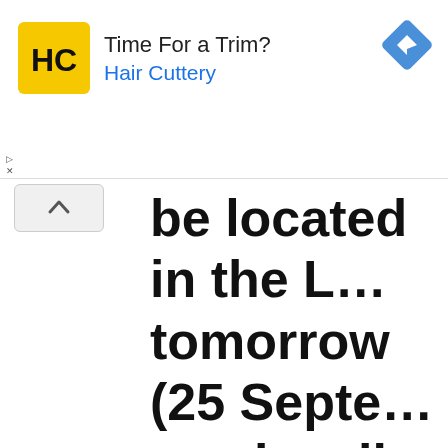[Figure (screenshot): Advertisement banner for Hair Cuttery showing logo, text 'Time For a Trim?' and 'Hair Cuttery' in blue, with a navigation/directions icon on the right]
be located in the L… tomorrow (25 Septe… use by all visitors. M… about the Van Gogh… initiatives to improve… including sign langu… tours and special da… visitors, is availabl…